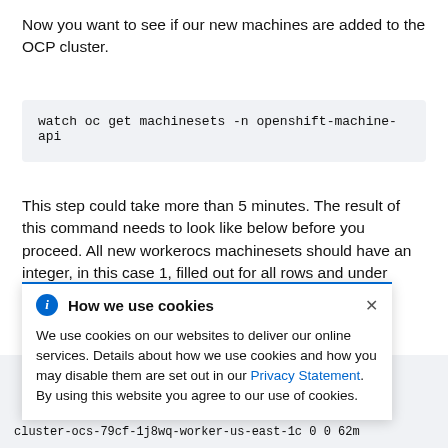Now you want to see if our new machines are added to the OCP cluster.
watch oc get machinesets -n openshift-machine-api
This step could take more than 5 minutes. The result of this command needs to look like below before you proceed. All new workerocs machinesets should have an integer, in this case 1, filled out for all rows and under c[...] of your m[...] ow.
How we use cookies
We use cookies on our websites to deliver our online services. Details about how we use cookies and how you may disable them are set out in our Privacy Statement. By using this website you agree to our use of cookies.
cluster-ocs-79cf-1j8wq-worker-us-east-1c 0 0 62m